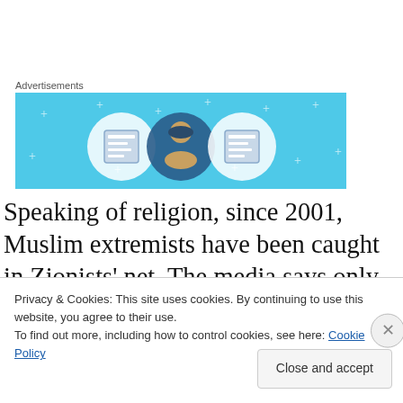Advertisements
[Figure (illustration): Advertisement banner with light blue background showing three circular icons of people/figures in a document/publication context with decorative plus signs.]
Speaking of religion, since 2001, Muslim extremists have been caught in Zionists’ net. The media says only Muslims are terrorists and Islam is terrorism. Please let me cite Prophet Muhammad’s words: “an Arab has no superiority over a non-Arab and a white man has no superiority over
Privacy & Cookies: This site uses cookies. By continuing to use this website, you agree to their use.
To find out more, including how to control cookies, see here: Cookie Policy
Close and accept